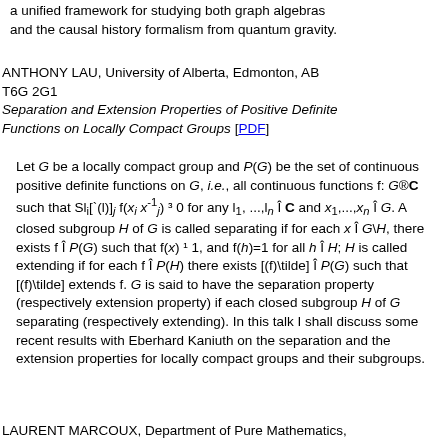a unified framework for studying both graph algebras and the causal history formalism from quantum gravity.
ANTHONY LAU, University of Alberta, Edmonton, AB T6G 2G1
Separation and Extension Properties of Positive Definite Functions on Locally Compact Groups [PDF]
Let G be a locally compact group and P(G) be the set of continuous positive definite functions on G, i.e., all continuous functions f: G®C such that Sl_i[`(l)]_j f(x_i x^{-1}_j) ³ 0 for any l_1, ...,l_n Î C and x_1,...,x_n Î G. A closed subgroup H of G is called separating if for each x Î G\H, there exists f Î P(G) such that f(x) ¹ 1, and f(h)=1 for all h Î H; H is called extending if for each f Î P(H) there exists [(f)\tilde] Î P(G) such that [(f)\tilde] extends f. G is said to have the separation property (respectively extension property) if each closed subgroup H of G separating (respectively extending). In this talk I shall discuss some recent results with Eberhard Kaniuth on the separation and the extension properties for locally compact groups and their subgroups.
LAURENT MARCOUX, Department of Pure Mathematics,